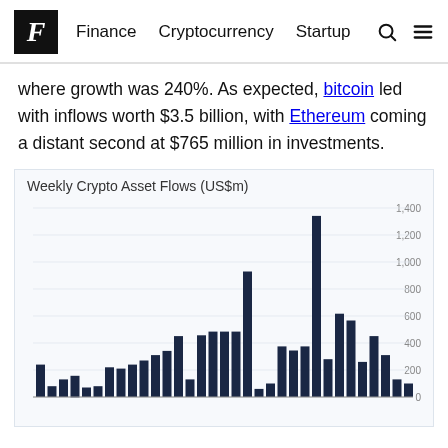F  Finance  Cryptocurrency  Startup
where growth was 240%. As expected, bitcoin led with inflows worth $3.5 billion, with Ethereum coming a distant second at $765 million in investments.
[Figure (bar-chart): Weekly Crypto Asset Flows (US$m)]